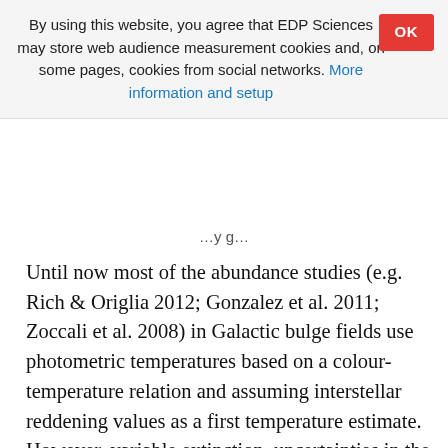By using this website, you agree that EDP Sciences may store web audience measurement cookies and, on some pages, cookies from social networks. More information and setup
Until now most of the abundance studies (e.g. Rich & Origlia 2012; Gonzalez et al. 2011; Zoccali et al. 2008) in Galactic bulge fields use photometric temperatures based on a colour-temperature relation and assuming interstellar reddening values as a first temperature estimate. However, variable extinction, uncertainties in the extinction law, etc. can lead to severe uncertainties in the derived temperatures (>200 K), which can lead to unknown and different systematic offsets in the abundance determination. Here we apply and investigate these relations for stellar abundances studies in the Bulge, extending their use to a wide range of